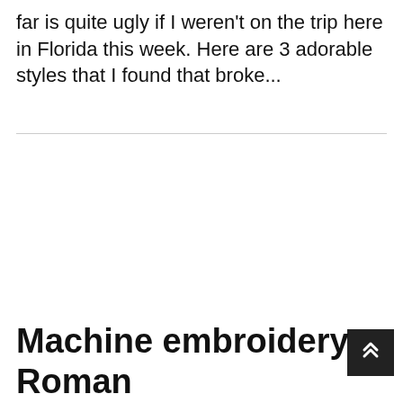far is quite ugly if I weren't on the trip here in Florida this week. Here are 3 adorable styles that I found that broke...
Machine embroidery Roman